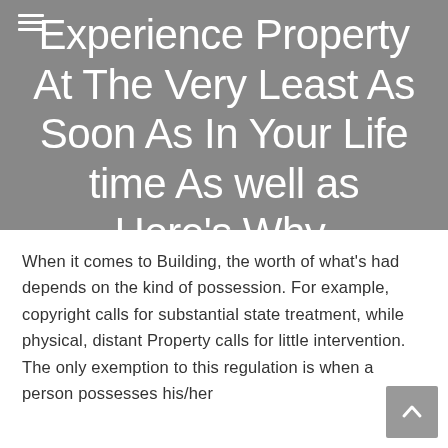Experience Property At The Very Least As Soon As In Your Lifetime As well as Here's Why.
When it comes to Building, the worth of what's had depends on the kind of possession. For example, copyright calls for substantial state treatment, while physical, distant Property calls for little intervention. The only exemption to this regulation is when a person possesses his/her